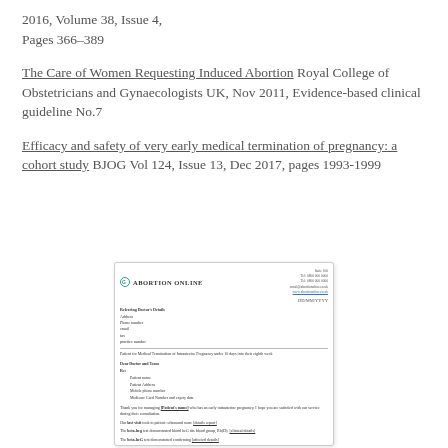2016, Volume 38, Issue 4, Pages 366–389
The Care of Women Requesting Induced Abortion Royal College of Obstetricians and Gynaecologists UK, Nov 2011, Evidence-based clinical guideline No.7
Efficacy and safety of very early medical termination of pregnancy: a cohort study BJOG Vol 124, Issue 13, Dec 2017, pages 1993-1999
[Figure (other): Thumbnail image of an Abortion Online letter/document showing logo, contact details, patient information fields, and body text with underlined references.]